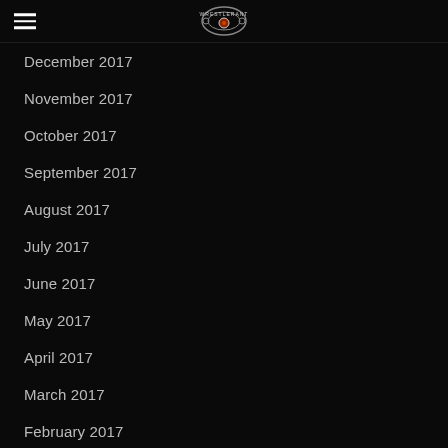WrestleRant logo and navigation
December 2017
November 2017
October 2017
September 2017
August 2017
July 2017
June 2017
May 2017
April 2017
March 2017
February 2017
January 2017
December 2016
November 2016
October 2016
September 2016
August 2016
July 2016